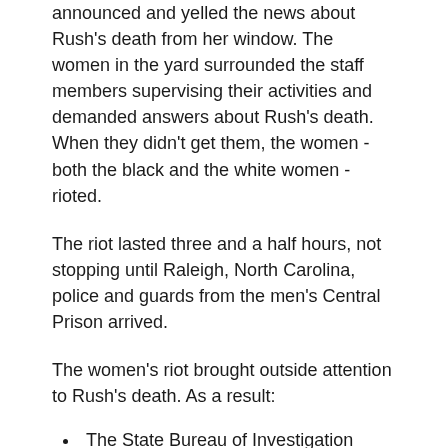announced and yelled the news about Rush's death from her window. The women in the yard surrounded the staff members supervising their activities and demanded answers about Rush's death. When they didn't get them, the women - both the black and the white women - rioted.
The riot lasted three and a half hours, not stopping until Raleigh, North Carolina, police and guards from the men's Central Prison arrived.
The women's riot brought outside attention to Rush's death. As a result:
The State Bureau of Investigation ordered a probe into Rush's death rather than believing the prison's explanation that Rush had dislocated her own neck and committed suicide.
Until that point, nothing in the prison rules explicitly prohibited the use of improvised gags. After the riot and probe, the State Prisons director explicitly banned the use of gags and iron claws